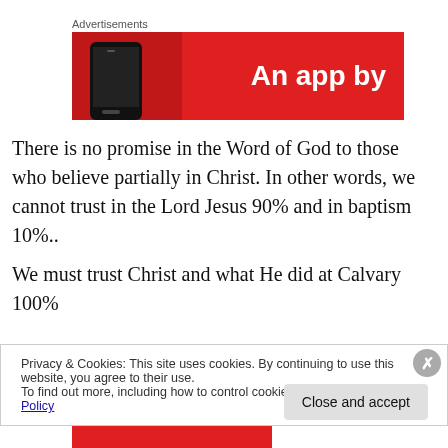Advertisements
[Figure (other): Red advertisement banner with text 'An app by' and a phone image on the left]
There is no promise in the Word of God to those who believe partially in Christ. In other words, we cannot trust in the Lord Jesus 90% and in baptism 10%..
We must trust Christ and what He did at Calvary 100%
Privacy & Cookies: This site uses cookies. By continuing to use this website, you agree to their use.
To find out more, including how to control cookies, see here: Cookie Policy
Close and accept